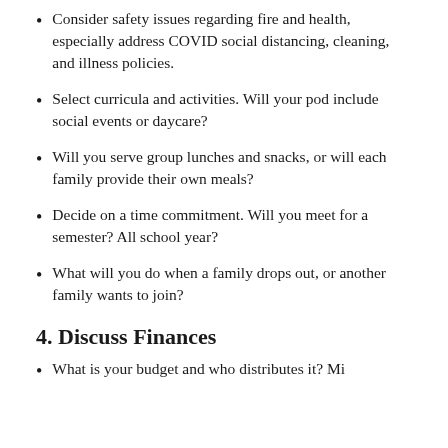Consider safety issues regarding fire and health, especially address COVID social distancing, cleaning, and illness policies.
Select curricula and activities. Will your pod include social events or daycare?
Will you serve group lunches and snacks, or will each family provide their own meals?
Decide on a time commitment. Will you meet for a semester? All school year?
What will you do when a family drops out, or another family wants to join?
4. Discuss Finances
What is your budget and who distributes it? Mis…